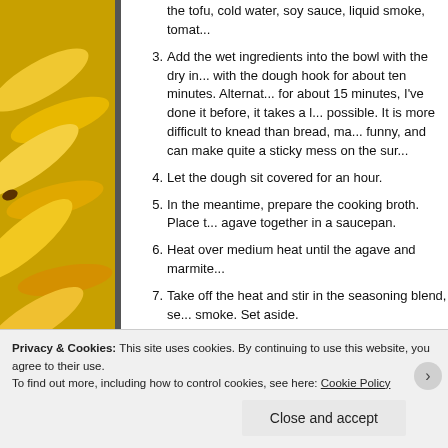[Figure (photo): Photo of yellow bananas on the left side of the page]
the tofu, cold water, soy sauce, liquid smoke, toma...
3. Add the wet ingredients into the bowl with the dry in... with the dough hook for about ten minutes. Alternate... for about 15 minutes, I've done it before, it takes a l... possible. It is more difficult to knead than bread, ma... funny, and can make quite a sticky mess on the sur...
4. Let the dough sit covered for an hour.
5. In the meantime, prepare the cooking broth. Place t... agave together in a saucepan.
6. Heat over medium heat until the agave and marmite...
7. Take off the heat and stir in the seasoning blend, se... smoke. Set aside.
8. After the hour of letting the dough sit is over, prehe...
9. Knead the dough for another ten minutes. The doug...
10. Take the whole ball of dough and place into an oile...
Privacy & Cookies: This site uses cookies. By continuing to use this website, you agree to their use.
To find out more, including how to control cookies, see here: Cookie Policy